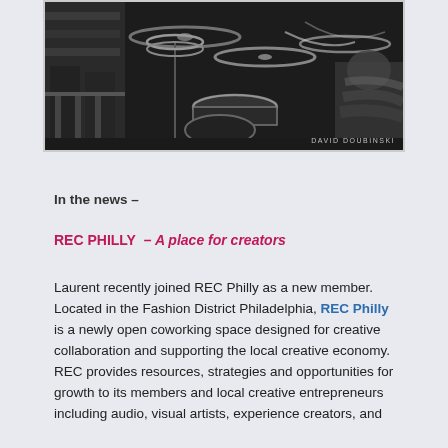[Figure (photo): Black and white photograph of a drummer playing drums in what appears to be a bar or venue, with motion blur on hands. Photo credit: David Doubinski.]
In the news –
REC PHILLY  – A place for creators
Laurent recently joined REC Philly as a new member. Located in the Fashion District Philadelphia, REC Philly is a newly open coworking space designed for creative collaboration and supporting the local creative economy. REC provides resources, strategies and opportunities for growth to its members and local creative entrepreneurs including audio, visual artists, experience creators, and